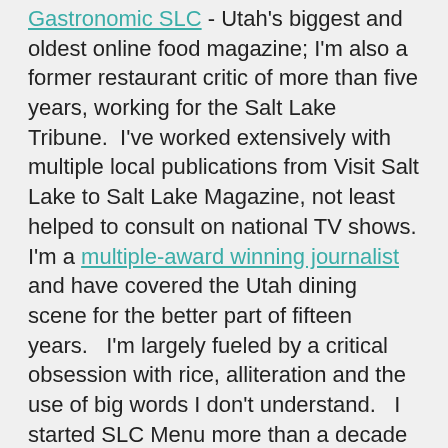Gastronomic SLC - Utah's biggest and oldest online food magazine; I'm also a former restaurant critic of more than five years, working for the Salt Lake Tribune.  I've worked extensively with multiple local publications from Visit Salt Lake to Salt Lake Magazine, not least helped to consult on national TV shows.
I'm a multiple-award winning journalist and have covered the Utah dining scene for the better part of fifteen years.   I'm largely fueled by a critical obsession with rice, alliteration and the use of big words I don't understand.   I started SLC Menu more than a decade ago, as somewhere to house all those hard to find